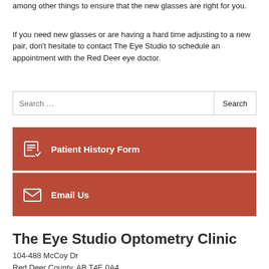among other things to ensure that the new glasses are right for you.
If you need new glasses or are having a hard time adjusting to a new pair, don't hesitate to contact The Eye Studio to schedule an appointment with the Red Deer eye doctor.
Search …
Patient History Form
Email Us
The Eye Studio Optometry Clinic
104-488 McCoy Dr
Red Deer County, AB T4E 0A4